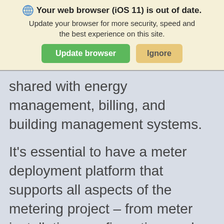🌐 Your web browser (iOS 11) is out of date. Update your browser for more security, speed and the best experience on this site. [Update browser] [Ignore]
shared with energy management, billing, and building management systems.
It's essential to have a meter deployment platform that supports all aspects of the metering project – from meter installation, configuration, and diagnostics, to billing, measurement,